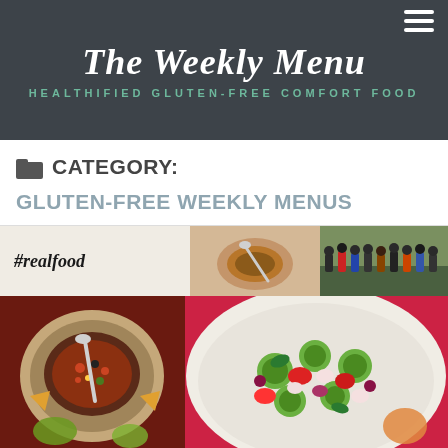The Weekly Menu — HEALTHIFIED GLUTEN-FREE COMFORT FOOD
CATEGORY: GLUTEN-FREE WEEKLY MENUS
[Figure (photo): Food blog image collage showing #realfood hashtag text, a soup bowl from above, a crowd scene, a chili/grain bowl overhead shot, and a large colorful cucumber-tomato salad bowl]